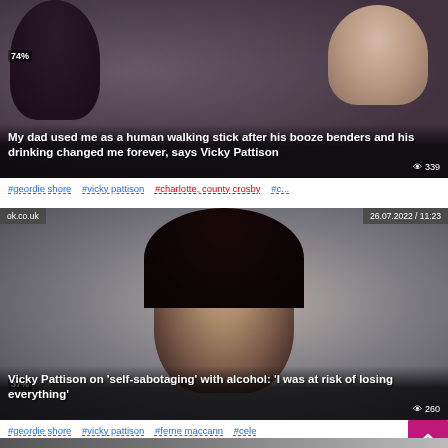[Figure (photo): Celebrity photo with headline about Vicky Pattison and her father's drinking]
My dad used me as a human walking stick after his booze benders and his drinking changed me forever, says Vicky Pattison
339 views
#geordie shore #vicky pattison #charlotte, county crosby #c...
[Figure (photo): Photo of Vicky Pattison with article from ok.co.uk dated 26.07.2022 / 11:23]
Vicky Pattison on 'self-sabotaging' with alcohol: 'I was at risk of losing everything'
260 views
#geordie shore #vicky pattison #ferne maccann #cele...